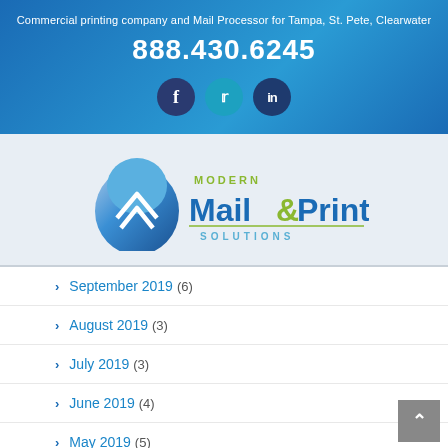Commercial printing company and Mail Processor for Tampa, St. Pete, Clearwater
888.430.6245
[Figure (logo): Social media icons: Facebook, Twitter, LinkedIn]
[Figure (logo): Modern Mail & Print Solutions company logo with blue arrow/shield graphic]
September 2019 (6)
August 2019 (3)
July 2019 (3)
June 2019 (4)
May 2019 (5)
April 2019 (2)
March 2019 (2)